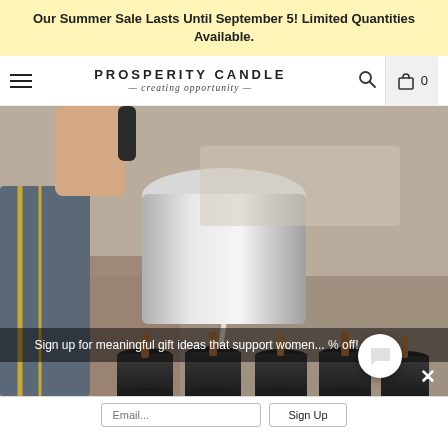Our Summer Sale Lasts Until September 5! Limited Quantities Available.
[Figure (logo): Prosperity Candle logo with tagline 'creating opportunity']
[Figure (photo): Person pouring wax from a large stainless steel pitcher into black candle molds with wooden wicks, in a kitchen/workshop setting]
Sign up for meaningful gift ideas that support women... % off!
Email...
Sign Up